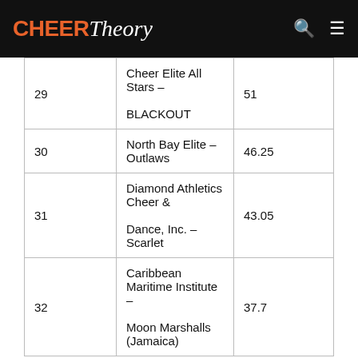CHEER Theory
|  |  |  |
| --- | --- | --- |
| 29 | Cheer Elite All Stars – BLACKOUT | 51 |
| 30 | North Bay Elite – Outlaws | 46.25 |
| 31 | Diamond Athletics Cheer & Dance, Inc. – Scarlet | 43.05 |
| 32 | Caribbean Maritime Institute – Moon Marshalls (Jamaica) | 37.7 |
International Open 5
Semi-Finals – Saturday, April 27th